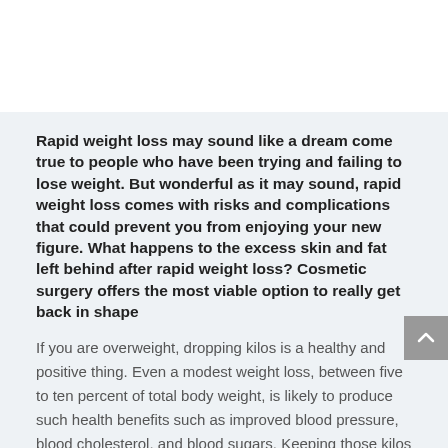Rapid weight loss may sound like a dream come true to people who have been trying and failing to lose weight. But wonderful as it may sound, rapid weight loss comes with risks and complications that could prevent you from enjoying your new figure. What happens to the excess skin and fat left behind after rapid weight loss? Cosmetic surgery offers the most viable option to really get back in shape
If you are overweight, dropping kilos is a healthy and positive thing. Even a modest weight loss, between five to ten percent of total body weight, is likely to produce such health benefits such as improved blood pressure, blood cholesterol, and blood sugars. Keeping those kilos off can lead to improvements in energy levels, physical